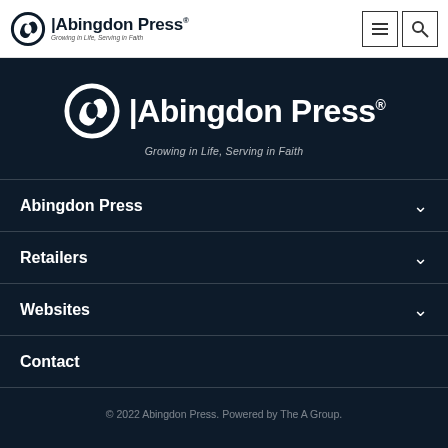Abingdon Press — Growing in Life, Serving in Faith
[Figure (logo): Abingdon Press logo — large white version on dark background with tagline 'Growing in Life, Serving in Faith']
Abingdon Press
Retailers
Websites
Contact
© 2022 Abingdon Press. Powered by The A Group.